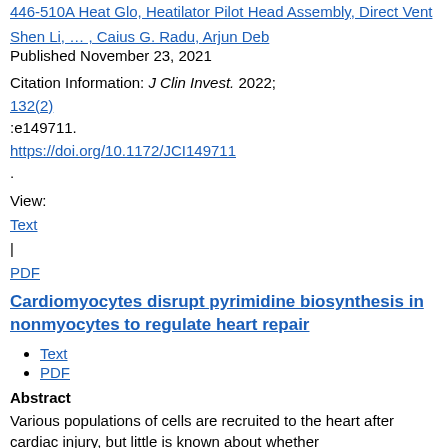446-510A Heat Glo, Heatilator Pilot Head Assembly, Direct Vent
Shen Li, … , Caius G. Radu, Arjun Deb
Published November 23, 2021
Citation Information: J Clin Invest. 2022; 132(2) :e149711. https://doi.org/10.1172/JCI149711 .
View: Text | PDF
Cardiomyocytes disrupt pyrimidine biosynthesis in nonmyocytes to regulate heart repair
Text
PDF
Abstract
Various populations of cells are recruited to the heart after cardiac injury, but little is known about whether